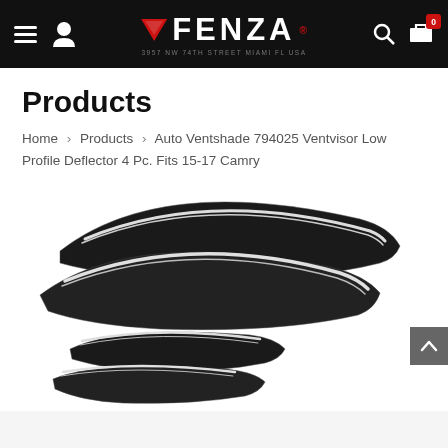FENZA — Navigation bar with hamburger menu, user icon, logo, search, and cart (0 items)
Products
Home > Products > Auto Ventshade 794025 Ventvisor Low Profile Deflector 4 Pc. Fits 15-17 Camry
[Figure (photo): Four black auto ventshade window deflectors with chrome trim strips, fanned out showing two large front pieces and two smaller rear pieces for a 2015-17 Toyota Camry]